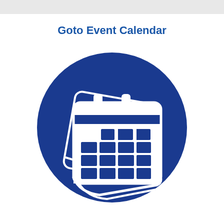Goto Event Calendar
[Figure (illustration): A dark blue circular icon containing a white calendar symbol with two binding clips at the top and a grid of date cells, with a page-flip effect suggesting multiple pages.]